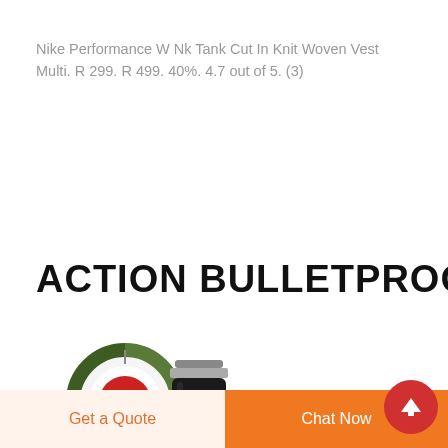Nike Performance W Nk Tank Cut In Knit Woven Vest Multi. R 299. R 499. 40%. 4.7 out of 5. (3)
ACTION BULLETPROOF
[Figure (photo): Circular logo with letter D in camouflage style green pattern and red center, and a black insulated bottle/flask with silver-capped top]
Get a Quote
Chat Now